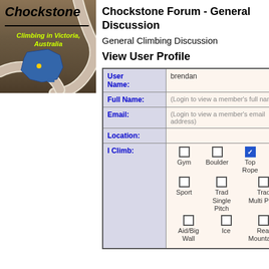[Figure (logo): Chockstone logo with rope and Australia map. Text: 'Chockstone', 'Climbing in Victoria, Australia']
Chockstone Forum - General Discussion
General Climbing Discussion
View User Profile
| Field | Value |
| --- | --- |
| User Name: | brendan |
| Full Name: | (Login to view a member's full name) |
| Email: | (Login to view a member's email address) |
| Location: |  |
| I Climb: | Gym □  Boulder □  Top Rope ☑
Sport □  Trad Single Pitch □  Trad Multi Pitch □
Aid/Big Wall □  Ice □  Real Mountains □ |